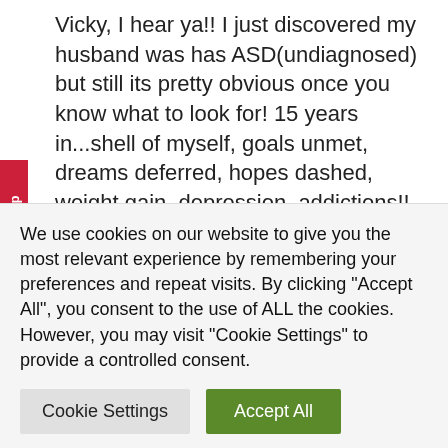Vicky, I hear ya!! I just discovered my husband was has ASD(undiagnosed) but still its pretty obvious once you know what to look for! 15 years in...shell of myself, goals unmet, dreams deferred, hopes dashed, weight gain, depression, addictions!! It's pure madness trying to love an ASD person while trying to ignore your own biological and psychological needs. Trying to be fair and open with them and build a beautiful life together only for a simple, basic
We use cookies on our website to give you the most relevant experience by remembering your preferences and repeat visits. By clicking "Accept All", you consent to the use of ALL the cookies. However, you may visit "Cookie Settings" to provide a controlled consent.